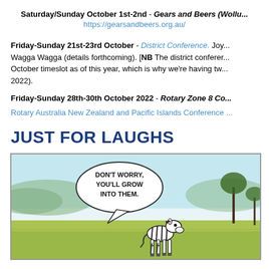Saturday/Sunday October 1st-2nd - Gears and Beers (Wollu... https://gearsandbeers.org.au/
Friday-Sunday 21st-23rd October - District Conference. Joy... Wagga Wagga (details forthcoming). [NB The district conferer... October timeslot as of this year, which is why we're having tw... 2022).
Friday-Sunday 28th-30th October 2022 - Rotary Zone 8 Co...
Rotary Australia New Zealand and Pacific Islands Conference...
JUST FOR LAUGHS
[Figure (illustration): A comic strip panel showing a speech bubble saying 'DON'T WORRY, YOU'LL GROW INTO THEM.' with a zebra character in a savanna landscape.]